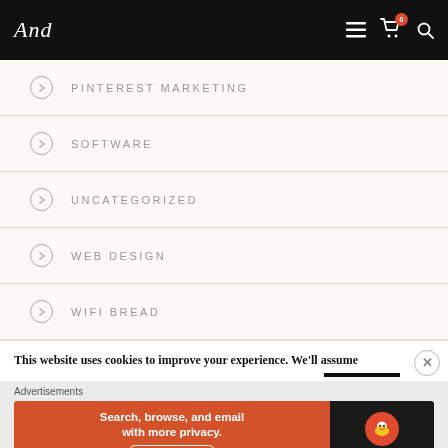Navigation header with logo and icons
PINTEREST MARKETING
SOFTWARE
UNCATEGORIZED
WEB DESIGN
WIFI BREAD
This website uses cookies to improve your experience. We'll assume
Advertisements
[Figure (screenshot): DuckDuckGo advertisement banner: orange left section reading 'Search, browse, and email with more privacy. All in One Free App', dark right section with DuckDuckGo logo]